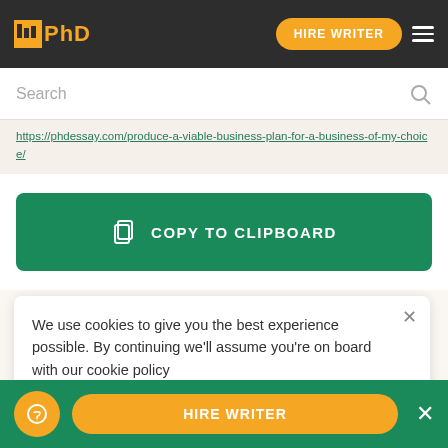[Figure (screenshot): Navigation bar with IPhD logo, HIRE WRITER button, and hamburger menu on dark background]
Search
https://phdessay.com/produce-a-viable-business-plan-for-a-business-of-my-choice/
COPY TO CLIPBOARD
More related Essays
Examine the importance of national cultures and the role of the family unit in harmony in order to life
We use cookies to give you the best experience possible. By continuing we'll assume you're on board with our cookie policy
HIRE WRITER